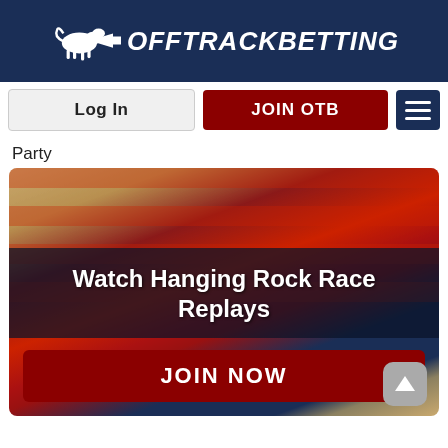[Figure (logo): OffTrackBetting logo with horse graphic and text on dark navy header]
Log In
JOIN OTB
Party
[Figure (photo): Hero banner with blurred American flag background showing text 'Watch Hanging Rock Race Replays' and a JOIN NOW button]
Watch Hanging Rock Race Replays
JOIN NOW